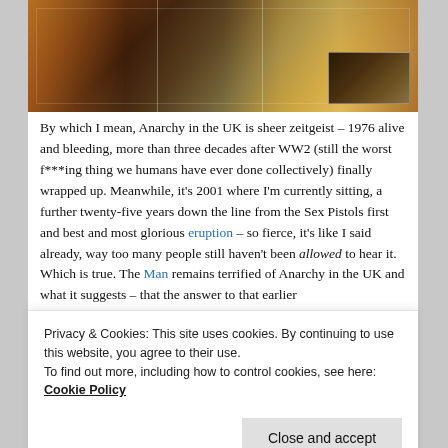[Figure (photo): Collage of rock band performance photos, appearing to show performers on stage with colorful costumes, guitars, and a smaller inset photo of musicians performing.]
By which I mean, Anarchy in the UK is sheer zeitgeist – 1976 alive and bleeding, more than three decades after WW2 (still the worst f***ing thing we humans have ever done collectively) finally wrapped up. Meanwhile, it's 2001 where I'm currently sitting, a further twenty-five years down the line from the Sex Pistols first and best and most glorious eruption – so fierce, it's like I said already, way too many people still haven't been allowed to hear it. Which is true. The Man remains terrified of Anarchy in the UK and what it suggests – that the answer to that earlier
Privacy & Cookies: This site uses cookies. By continuing to use this website, you agree to their use.
To find out more, including how to control cookies, see here: Cookie Policy
make that stand, state your grievances, make your voice